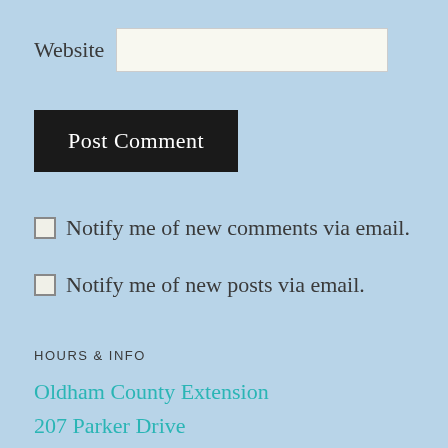Website
Post Comment
Notify me of new comments via email.
Notify me of new posts via email.
HOURS & INFO
Oldham County Extension
207 Parker Drive
La Grange, KY 40031
502-222-9453